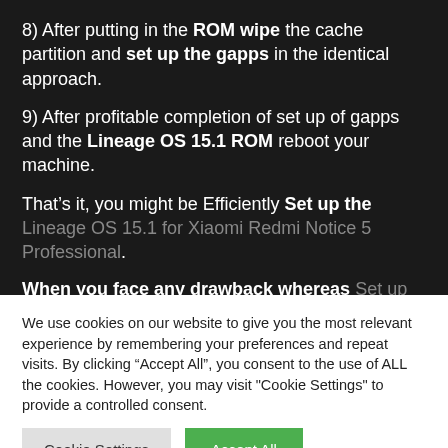8) After putting in the ROM wipe the cache partition and set up the gapps in the identical approach.
9) After profitable completion of set up of gapps and the Lineage OS 15.1 ROM reboot your machine.
That’s it, you might be Efficiently Set up the Lineage OS 15.1 for Xiaomi Redmi Notice 5 Professional.
When you face any drawback whereas Set up the
We use cookies on our website to give you the most relevant experience by remembering your preferences and repeat visits. By clicking “Accept All”, you consent to the use of ALL the cookies. However, you may visit "Cookie Settings" to provide a controlled consent.